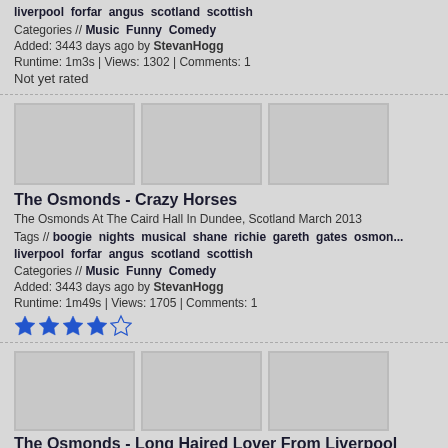liverpool forfar angus scotland scottish
Categories // Music Funny Comedy
Added: 3443 days ago by StevanHogg
Runtime: 1m3s | Views: 1302 | Comments: 1
Not yet rated
[Figure (photo): Three video thumbnail placeholders (grey boxes) in a row]
The Osmonds - Crazy Horses
The Osmonds At The Caird Hall In Dundee, Scotland March 2013
Tags // boogie nights musical shane richie gareth gates osmond liverpool forfar angus scotland scottish
Categories // Music Funny Comedy
Added: 3443 days ago by StevanHogg
Runtime: 1m49s | Views: 1705 | Comments: 1
[Figure (other): 4 out of 5 stars rating]
[Figure (photo): Three video thumbnail placeholders (grey boxes) in a row]
The Osmonds - Long Haired Lover From Liverpool 2013